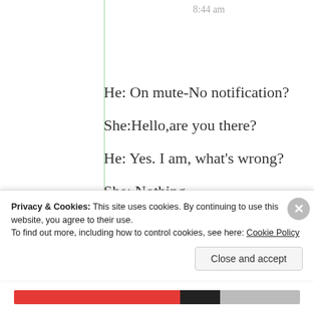8:44 am
He: On mute-No notification?
She:Hello,are you there?
He: Yes. I am, what’s wrong?
She: Nothing.
He: Sure??There must be something.
Privacy & Cookies: This site uses cookies. By continuing to use this website, you agree to their use.
To find out more, including how to control cookies, see here: Cookie Policy
Close and accept